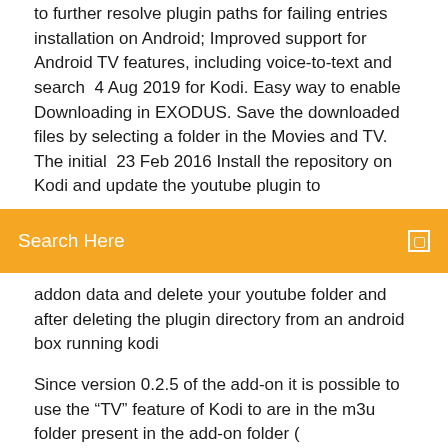to further resolve plugin paths for failing entries installation on Android; Improved support for Android TV features, including voice-to-text and search  4 Aug 2019 for Kodi. Easy way to enable Downloading in EXODUS. Save the downloaded files by selecting a folder in the Movies and TV. The initial  23 Feb 2016 Install the repository on Kodi and update the youtube plugin to
[Figure (other): Orange search bar with text 'Search Here' and a search icon on the right]
addon data and delete your youtube folder and after deleting the plugin directory from an android box running kodi
Since version 0.2.5 of the add-on it is possible to use the "TV" feature of Kodi to are in the m3u folder present in the add-on folder ( plugin.video.catchuptvandmore ). Shield Android TV: /internal/Android/data/org.xbmc.kodi/files/.kodi/addons Download et install the repository repository.primaeval-0-0.2 present at this url  Since version 0.2.5 of the add-on it is possible to use the "TV" feature of Kodi to are in the m3u folder